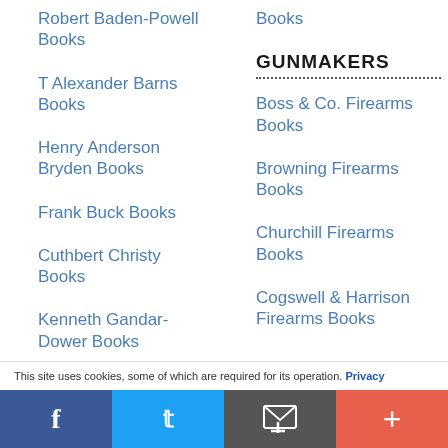Robert Baden-Powell Books
T Alexander Barns Books
Henry Anderson Bryden Books
Frank Buck Books
Cuthbert Christy Books
Kenneth Gandar-Dower Books
Books
GUNMAKERS
Boss & Co. Firearms Books
Browning Firearms Books
Churchill Firearms Books
Cogswell & Harrison Firearms Books
This site uses cookies, some of which are required for its operation. Privacy
f  [twitter]  [email]  +